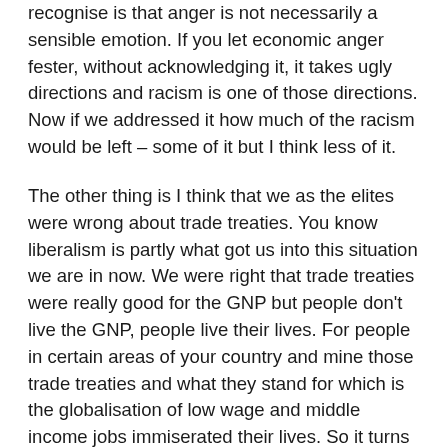recognise is that anger is not necessarily a sensible emotion. If you let economic anger fester, without acknowledging it, it takes ugly directions and racism is one of those directions. Now if we addressed it how much of the racism would be left – some of it but I think less of it.
The other thing is I think that we as the elites were wrong about trade treaties. You know liberalism is partly what got us into this situation we are in now. We were right that trade treaties were really good for the GNP but people don't live the GNP, people live their lives. For people in certain areas of your country and mine those trade treaties and what they stand for which is the globalisation of low wage and middle income jobs immiserated their lives. So it turns out that these trade treaties are far more expensive than we have been treating them because the only way to have those trade treaties with out this massive and ruinous class conflict is